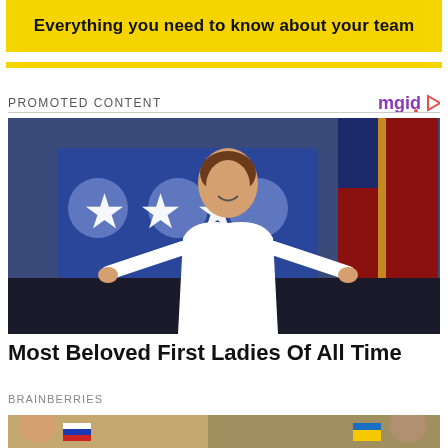[Figure (infographic): Yellow banner advertisement with bold text: 'Everything you need to know about your team']
[Figure (other): Thin yellow horizontal bar]
PROMOTED CONTENT
[Figure (logo): mgid logo with play button icon]
[Figure (photo): Woman in white dress with arms outstretched on stage with American flags and blue star backdrop]
Most Beloved First Ladies Of All Time
BRAINBERRIES
[Figure (photo): Bottom portion of another article image showing two people holding Russian and Ukrainian flags]